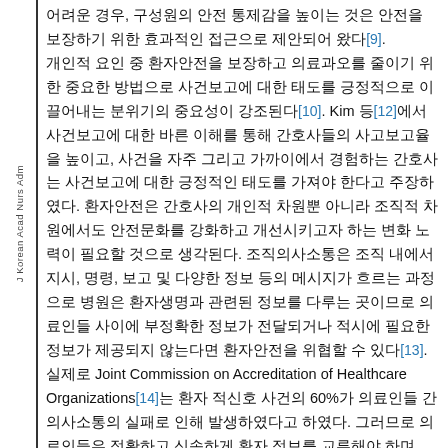어려운 경우, 구성원의 안전 통제감을 높이는 것은 안전을 보장하기 위한 효과적인 접근으로 제안되어 왔다[9]. 개인적 요인 중 환자안전을 보장하고 의료과오를 줄이기 위한 중요한 방법으로 사건보고에 대한 태도를 긍정적으로 이끌어내는 분위기의 중요성이 강조된다[10]. Kim 등[12]에서 사건보고에 대한 바른 이해를 통해 간호사들의 사고보고율을 높이고, 사건을 자주 그리고 가까이에서 경험하는 간호사는 사건보고에 대한 긍정적인 태도를 가져야 한다고 주장하였다. 환자안전은 간호사의 개인적 차원뿐 아니라 조직적 차원에서도 안전문화를 강화하고 개선시키고자 하는 변화 노력이 필요할 것으로 생각된다. 조직의사소통은 조직 내에서 지시, 명령, 보고 및 다양한 정보 등의 메시지가 흐르는 과정으로 병원은 환자생명과 관련된 정보를 다루는 곳이므로 의료인들 사이에 부정확한 정보가 전달되거나 적시에 필요한 정보가 제공되지 않는다면 환자안전을 위협할 수 있다[13]. 실제로 Joint Commission on Accreditation of Healthcare Organizations[14]는 환자 적신호 사건의 60%가 의료인들 간 의사소통의 실패로 인해 발생하였다고 하였다. 그러므로 의료인들은 정확하고 신속하게 환자 정보를 교류해야 하며
J Korean Acad Nurs Adm